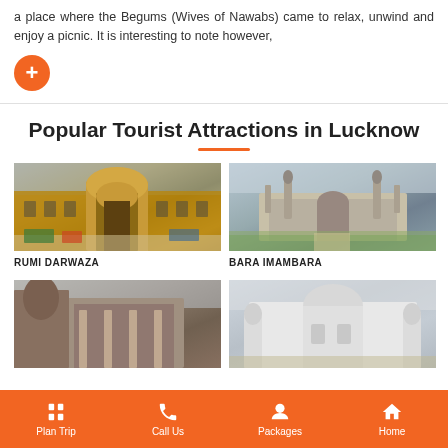a place where the Begums (Wives of Nawabs) came to relax, unwind and enjoy a picnic. It is interesting to note however,
Popular Tourist Attractions in Lucknow
[Figure (photo): Photo of Rumi Darwaza, a large ornate Mughal gateway in Lucknow]
RUMI DARWAZA
[Figure (photo): Aerial photo of Bara Imambara complex in Lucknow with surrounding grounds]
BARA IMAMBARA
[Figure (photo): Photo of a historic building in Lucknow, partially visible]
[Figure (photo): Photo of a white domed building in Lucknow, partially visible]
Plan Trip  Call Us  Packages  Home